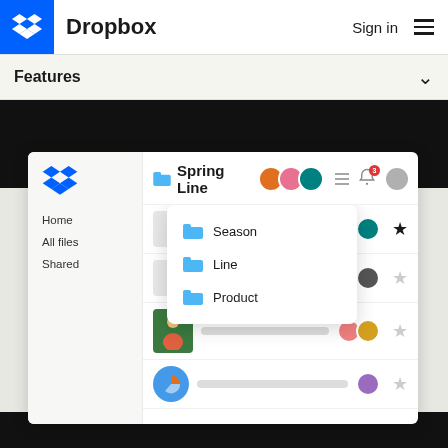Dropbox  Sign in  ☰
Features  ∨
[Figure (screenshot): Dropbox web app interface showing a folder named 'Spring Line' with a dropdown menu listing Season, Line, and Product subfolders, and a file list with shared collaborator avatars, star icons, and file thumbnails.]